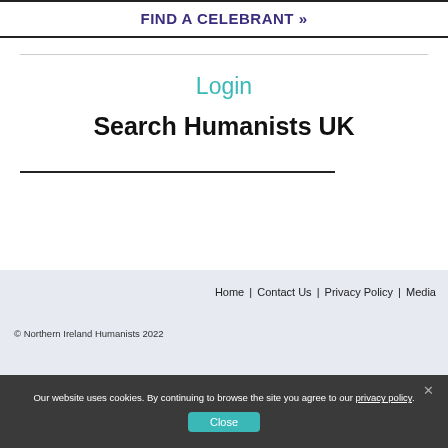FIND A CELEBRANT »
Login
Search Humanists UK
Home | Contact Us | Privacy Policy | Media
© Northern Ireland Humanists 2022
Our website uses cookies. By continuing to browse the site you agree to our privacy policy.